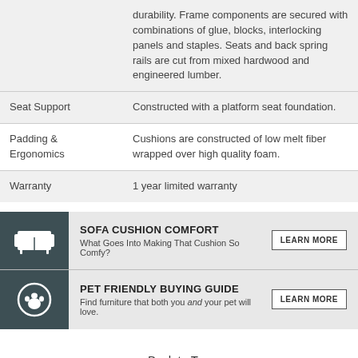| Feature | Description |
| --- | --- |
|  | durability. Frame components are secured with combinations of glue, blocks, interlocking panels and staples. Seats and back spring rails are cut from mixed hardwood and engineered lumber. |
| Seat Support | Constructed with a platform seat foundation. |
| Padding & Ergonomics | Cushions are constructed of low melt fiber wrapped over high quality foam. |
| Warranty | 1 year limited warranty |
[Figure (infographic): Promo banner with two rows: 'Sofa Cushion Comfort - What Goes Into Making That Cushion So Comfy?' with LEARN MORE button, and 'Pet Friendly Buying Guide - Find furniture that both you and your pet will love.' with LEARN MORE button. Dark teal icons on left.]
Back to Top
Similar search terms: Rocker, Rocking Chair, Nursery Furniture, Nursery